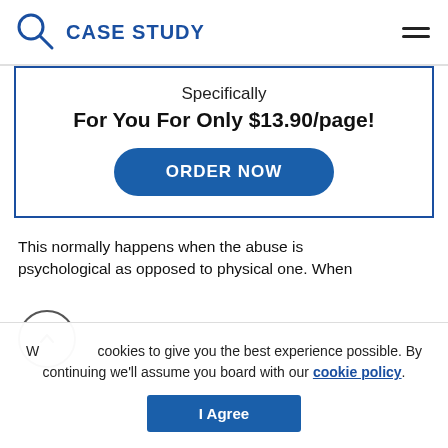CASE STUDY
Specifically
For You For Only $13.90/page!
ORDER NOW
This normally happens when the abuse is psychological as opposed to physical one. When
We use cookies to give you the best experience possible. By continuing we'll assume you board with our cookie policy.
I Agree